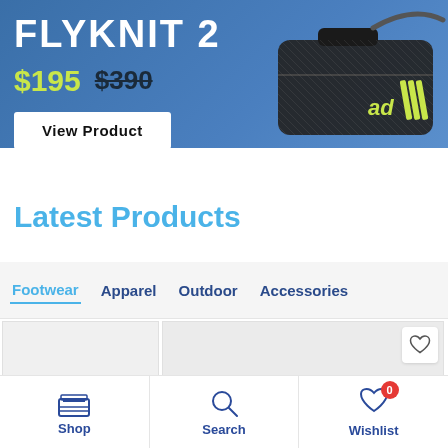[Figure (screenshot): Adidas product banner with bag image, showing sale price $195 and original price $390, with a View Product button on blue background]
Latest Products
Footwear  Apparel  Outdoor  Accessories
[Figure (screenshot): Product card placeholder thumbnails with heart/wishlist icon]
Shop  Search  Wishlist (0)